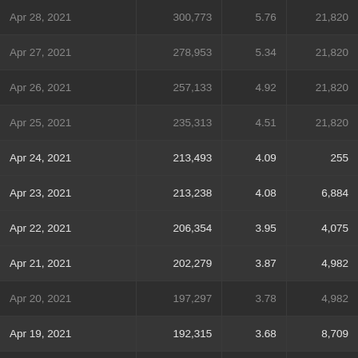| Apr 28, 2021 | 300,773 | 5.76 | 21,820 |
| Apr 27, 2021 | 278,953 | 5.34 | 21,820 |
| Apr 26, 2021 | 257,133 | 4.92 | 21,820 |
| Apr 25, 2021 | 235,313 | 4.51 | 21,820 |
| Apr 24, 2021 | 213,493 | 4.09 | 255 |
| Apr 23, 2021 | 213,238 | 4.08 | 6,884 |
| Apr 22, 2021 | 206,354 | 3.95 | 4,075 |
| Apr 21, 2021 | 202,279 | 3.87 | 4,982 |
| Apr 20, 2021 | 197,297 | 3.78 | 4,982 |
| Apr 19, 2021 | 192,315 | 3.68 | 8,709 |
| Apr 18, 2021 | 183,606 | 3.52 | 370 |